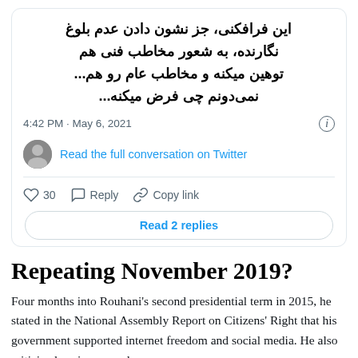[Figure (screenshot): Twitter/X tweet card with Persian text, timestamp 4:42 PM May 6 2021, avatar, 'Read the full conversation on Twitter' link, like count 30, Reply and Copy link actions, and 'Read 2 replies' button]
Repeating November 2019?
Four months into Rouhani's second presidential term in 2015, he stated in the National Assembly Report on Citizens' Right that his government supported internet freedom and social media. He also criticized spying on and